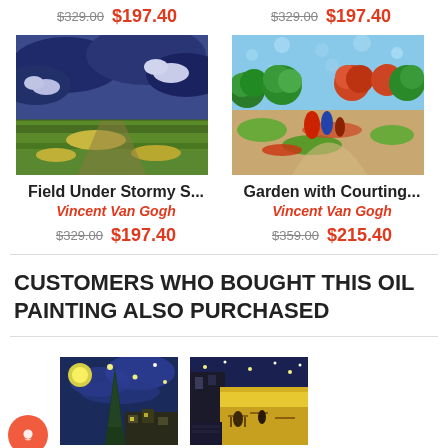$329.00 $197.40    $329.00 $197.40
[Figure (illustration): Oil painting reproduction of 'Field Under Stormy Skies' by Vincent Van Gogh — green wheat field under dramatic dark blue stormy clouds]
Field Under Stormy S...
Vincent Van Gogh
$329.00 $197.40
[Figure (illustration): Oil painting reproduction of 'Garden with Courting Couples' by Vincent Van Gogh — pointillist garden scene with people walking among flowering trees]
Garden with Courting...
Vincent Van Gogh
$359.00 $215.40
CUSTOMERS WHO BOUGHT THIS OIL PAINTING ALSO PURCHASED
[Figure (illustration): Oil painting reproduction of The Starry Night by Vincent Van Gogh — swirling night sky with moon, cypress tree and village]
[Figure (illustration): Oil painting reproduction of Cafe Terrace at Night by Vincent Van Gogh — yellow lit cafe awning on cobblestone street at night]